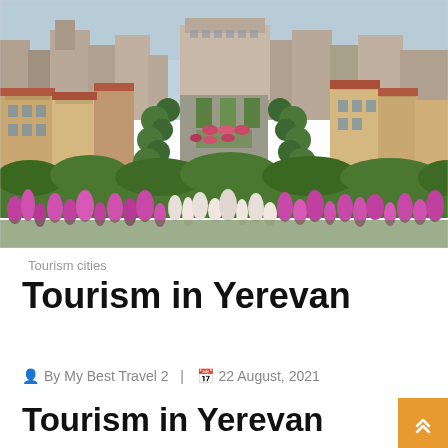[Figure (photo): Aerial view of Yerevan city with pink and white flowers in the foreground, green trees, buildings, and a boulevard stretching into the distance]
Tourism cities
Tourism in Yerevan
By My Best Travel 2  |  22 August, 2021
Tourism in Yerevan